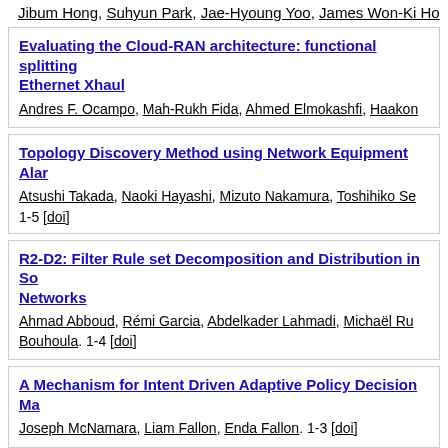Jibum Hong, Suhyun Park, Jae-Hyoung Yoo, James Won-Ki Ho...
Evaluating the Cloud-RAN architecture: functional splitting... Ethernet Xhaul
Andres F. Ocampo, Mah-Rukh Fida, Ahmed Elmokashfi, Haakon...
Topology Discovery Method using Network Equipment Alar...
Atsushi Takada, Naoki Hayashi, Mizuto Nakamura, Toshihiko Se...
1-5 [doi]
R2-D2: Filter Rule set Decomposition and Distribution in So... Networks
Ahmad Abboud, Rémi Garcia, Abdelkader Lahmadi, Michaël Ru... Bouhoula. 1-4 [doi]
A Mechanism for Intent Driven Adaptive Policy Decision Ma...
Joseph McNamara, Liam Fallon, Enda Fallon. 1-3 [doi]